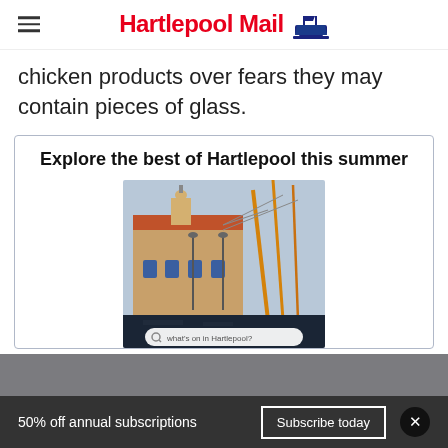Hartlepool Mail
chicken products over fears they may contain pieces of glass.
Explore the best of Hartlepool this summer
[Figure (photo): Photo of Hartlepool waterfront/marina building with ship masts and cranes, with a search bar overlay reading 'what's on in Hartlepool?']
50% off annual subscriptions  Subscribe today  ×